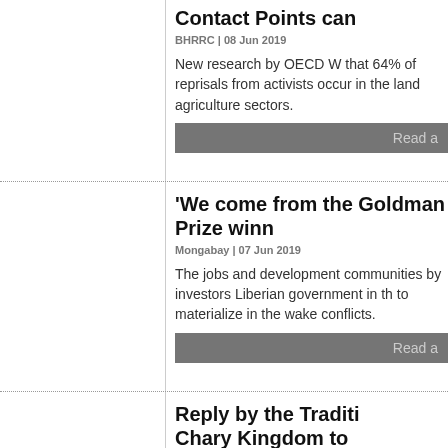Contact Points can
BHRRC | 08 Jun 2019
New research by OECD W that 64% of reprisals from activists occur in the land agriculture sectors.
Read a
'We come from the Goldman Prize winn
Mongabay | 07 Jun 2019
The jobs and development communities by investors Liberian government in th to materialize in the wake conflicts.
Read a
Reply by the Traditi Chary Kingdom to